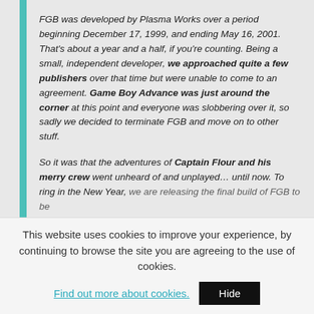FGB was developed by Plasma Works over a period beginning December 17, 1999, and ending May 16, 2001. That's about a year and a half, if you're counting. Being a small, independent developer, we approached quite a few publishers over that time but were unable to come to an agreement. Game Boy Advance was just around the corner at this point and everyone was slobbering over it, so sadly we decided to terminate FGB and move on to other stuff.
So it was that the adventures of Captain Flour and his merry crew went unheard of and unplayed... until now. To ring in the New Year, we are releasing the final build of FGB to be
This website uses cookies to improve your experience, by continuing to browse the site you are agreeing to the use of cookies. Find out more about cookies. Hide